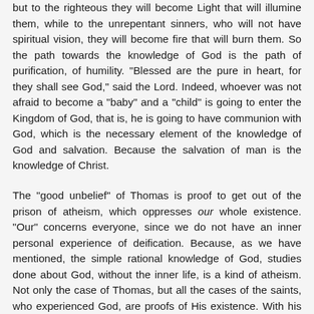but to the righteous they will become Light that will illumine them, while to the unrepentant sinners, who will not have spiritual vision, they will become fire that will burn them. So the path towards the knowledge of God is the path of purification, of humility. "Blessed are the pure in heart, for they shall see God," said the Lord. Indeed, whoever was not afraid to become a "baby" and a "child" is going to enter the Kingdom of God, that is, he is going to have communion with God, which is the necessary element of the knowledge of God and salvation. Because the salvation of man is the knowledge of Christ.
The "good unbelief" of Thomas is proof to get out of the prison of atheism, which oppresses our whole existence. "Our" concerns everyone, since we do not have an inner personal experience of deification. Because, as we have mentioned, the simple rational knowledge of God, studies done about God, without the inner life, is a kind of atheism. Not only the case of Thomas, but all the cases of the saints, who experienced God, are proofs of His existence. With his transformed life he confessed "My Lord and my God". There is a lot of evidence around us, as long as we have eyes and ears to see and hear.